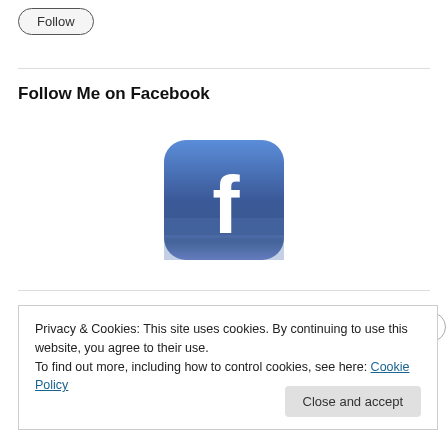Follow
Follow Me on Facebook
[Figure (logo): Facebook app icon — blue rounded square with white lowercase 'f' logo]
Privacy & Cookies: This site uses cookies. By continuing to use this website, you agree to their use.
To find out more, including how to control cookies, see here: Cookie Policy
Close and accept